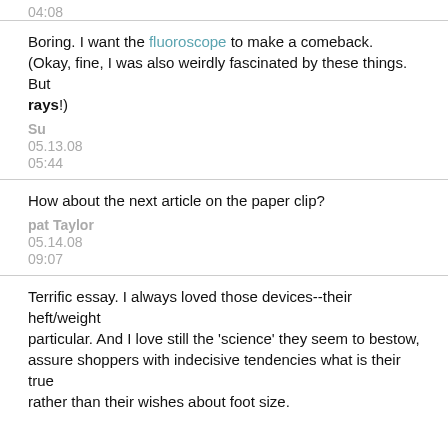04:08
Boring. I want the fluoroscope to make a comeback. (Okay, fine, I was also weirdly fascinated by these things. But rays!)
Su
05.13.08
05:44
How about the next article on the paper clip?
pat Taylor
05.14.08
09:07
Terrific essay. I always loved those devices--their heft/weight particular. And I love still the 'science' they seem to bestow, assure shoppers with indecisive tendencies what is their true rather than their wishes about foot size.